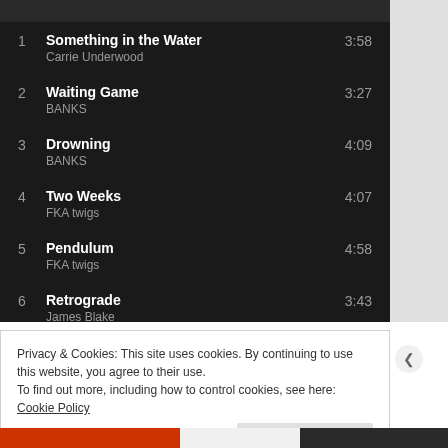1  Something in the Water  3:58
Carrie Underwood
2  Waiting Game  3:27
BANKS
3  Drowning  4:09
BANKS
4  Two Weeks  4:07
FKA twigs
5  Pendulum  4:58
FKA twigs
6  Retrograde  3:43
James Blake
Privacy & Cookies: This site uses cookies. By continuing to use this website, you agree to their use.
To find out more, including how to control cookies, see here: Cookie Policy
Close and accept